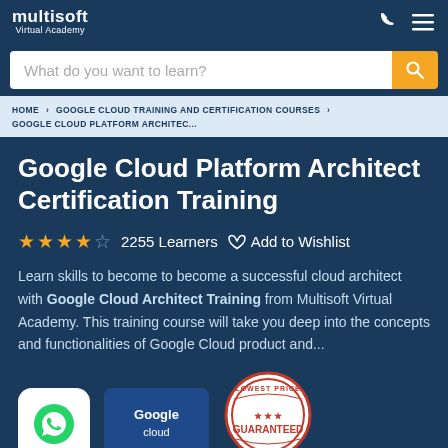multisoft Virtual Academy
What do you want to learn?
HOME > GOOGLE CLOUD TRAINING AND CERTIFICATION COURSES > GOOGLE CLOUD PLATFORM ARCHITEC...
Google Cloud Platform Architect Certification Training
★★★★☆  2255 Learners   ♡ Add to Wishlist
Learn skills to become to become a successful cloud architect with Google Cloud Architect Training from Multisoft Virtual Academy. This training course will take you deep into the concepts and functionalities of Google Cloud product and...
[Figure (logo): WhatsApp icon in white rounded square]
[Figure (logo): Google cloud badge on blue background]
[Figure (logo): Lowest Price Guaranteed circular badge in red and white]